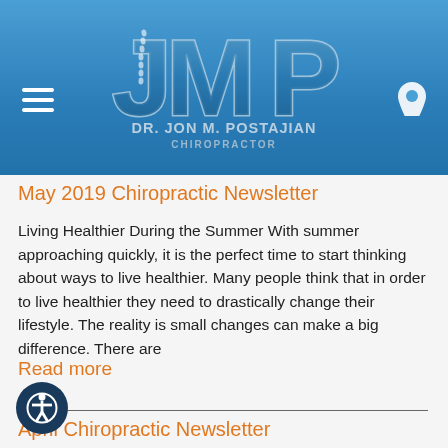[Figure (logo): JMP logo with 'DR. JON M. POSTAJIAN CHIROPRACTOR' text on blue gradient header background]
May 2019 Chiropractic Newsletter
Living Healthier During the Summer With summer approaching quickly, it is the perfect time to start thinking about ways to live healthier. Many people think that in order to live healthier they need to drastically change their lifestyle. The reality is small changes can make a big difference. There are
Read more
April Chiropractic Newsletter